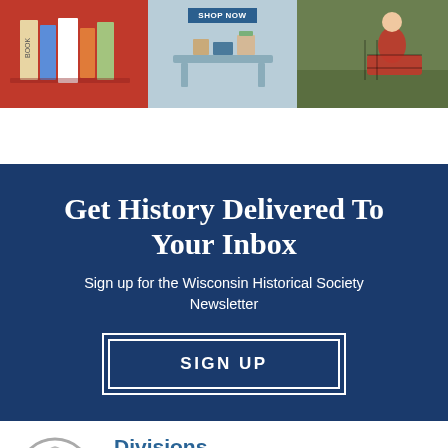[Figure (photo): Banner with three promotional images: books/gifts on red background, furniture with 'Shop Now' button on blue-gray background, person in plaid sitting on green background]
Get History Delivered To Your Inbox
Sign up for the Wisconsin Historical Society Newsletter
SIGN UP
[Figure (logo): Wisconsin Historical Society circular logo with W]
Divisions
Library-Archives